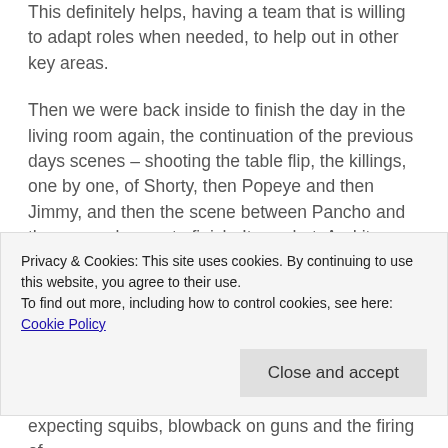This definitely helps, having a team that is willing to adapt roles when needed, to help out in other key areas.
Then we were back inside to finish the day in the living room again, the continuation of the previous days scenes – shooting the table flip, the killings, one by one, of Shorty, then Popeye and then Jimmy, and then the scene between Pancho and the removal guy – to finish. It was hot. And it was tough going. I think it took two attempts to get the table flip. Luckily, no bottles broke, no cameras were broken, no furniture got broken and no one was injured. However, the mirror that they were doing fake coke off, got broken
Privacy & Cookies: This site uses cookies. By continuing to use this website, you agree to their use.
To find out more, including how to control cookies, see here: Cookie Policy
expecting squibs, blowback on guns and the firing of